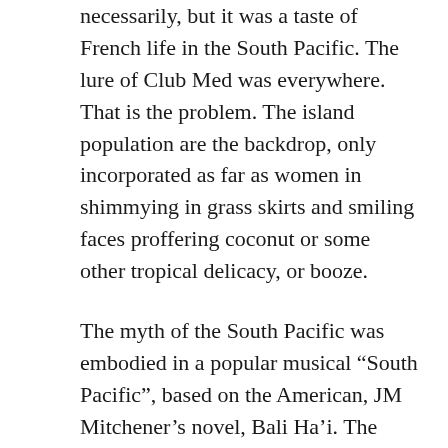necessarily, but it was a taste of French life in the South Pacific. The lure of Club Med was everywhere. That is the problem. The island population are the backdrop, only incorporated as far as women in shimmying in grass skirts and smiling faces proffering coconut or some other tropical delicacy, or booze.
The myth of the South Pacific was embodied in a popular musical “South Pacific”, based on the American, JM Mitchener’s novel, Bali Ha’i. The French colonies escaped the barbarity of the War in the South Pacific, it was nevertheless very important to the Americans. Australia was in French Polynesia in the espionage business there when there had been a battle for control